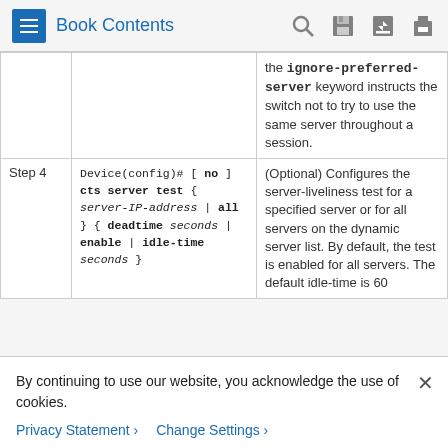Book Contents
|  | Command | Purpose |
| --- | --- | --- |
|  | the ignore-preferred-server keyword instructs the switch not to try to use the same server throughout a session. |  |
| Step 4 | Device(config)# [ no ] cts server test { server-IP-address | all } { deadtime seconds | enable | idle-time seconds } | (Optional) Configures the server-liveliness test for a specified server or for all servers on the dynamic server list. By default, the test is enabled for all servers. The default idle-time is 60... |
By continuing to use our website, you acknowledge the use of cookies.
Privacy Statement > Change Settings >